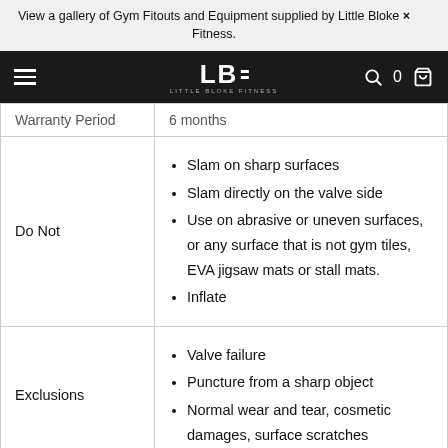View a gallery of Gym Fitouts and Equipment supplied by Little Bloke Fitness.
LBF - LITTLE BLOKE FITNESS [navigation bar]
| Field | Details |
| --- | --- |
| Warranty Period | 6 months |
| Do Not | Slam on sharp surfaces; Slam directly on the valve side; Use on abrasive or uneven surfaces, or any surface that is not gym tiles, EVA jigsaw mats or stall mats.; Inflate |
| Exclusions | Valve failure; Puncture from a sharp object; Normal wear and tear, cosmetic damages, surface scratches |